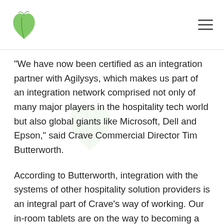Crave logo and navigation menu
“We have now been certified as an integration partner with Agilysys, which makes us part of an integration network comprised not only of many major players in the hospitality tech world but also global giants like Microsoft, Dell and Epson,” said Crave Commercial Director Tim Butterworth.
According to Butterworth, integration with the systems of other hospitality solution providers is an integral part of Crave’s way of working. Our in-room tablets are on the way to becoming a standard